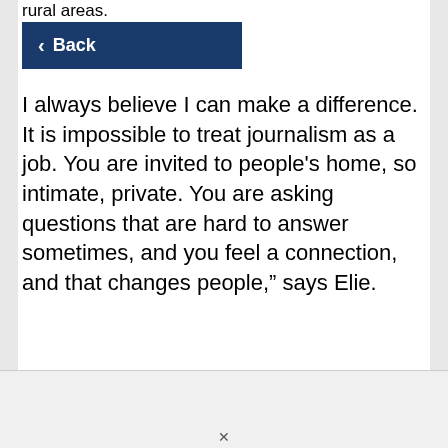rural areas.
[Figure (screenshot): Blue back navigation button with left arrow and 'Back' label]
I always believe I can make a difference. It is impossible to treat journalism as a job. You are invited to people's home, so intimate, private. You are asking questions that are hard to answer sometimes, and you feel a connection, and that changes people," says Elie.